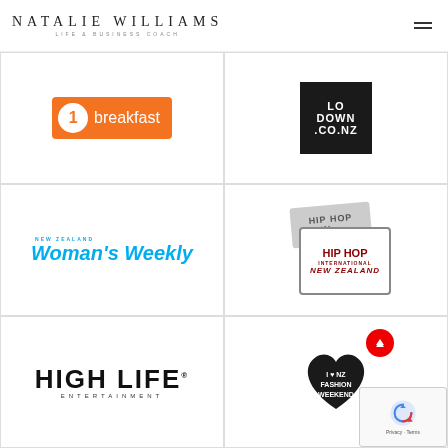NATALIE WILLIAMS LIFE & BUSINESS COACH
[Figure (logo): TVNZ Breakfast logo - orange rectangle with circle 1 and text 'breakfast']
[Figure (logo): LO DOWN CO.NZ logo - black square with white text]
[Figure (logo): New Zealand Woman's Weekly logo in cyan blue italic text]
[Figure (logo): Hip Hop International New Zealand logo with overlapping cards]
[Figure (logo): HIGH LIFE ENTERTAINMENT logo in bold black capitals]
[Figure (logo): I Love NZ Fashion Weekend logo with heart shape and scroll-to-top button and reCAPTCHA overlay]